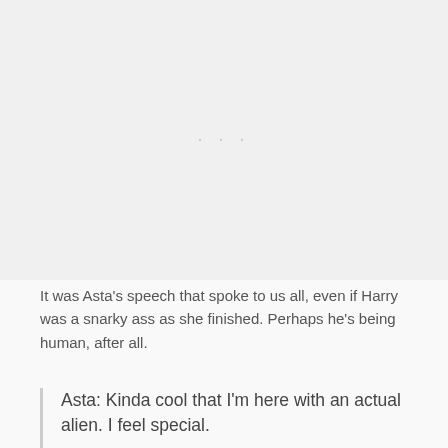[Figure (other): Blank/placeholder image area with faint dots in the center]
It was Asta's speech that spoke to us all, even if Harry was a snarky ass as she finished. Perhaps he's being human, after all.
Asta: Kinda cool that I'm here with an actual alien. I feel special.